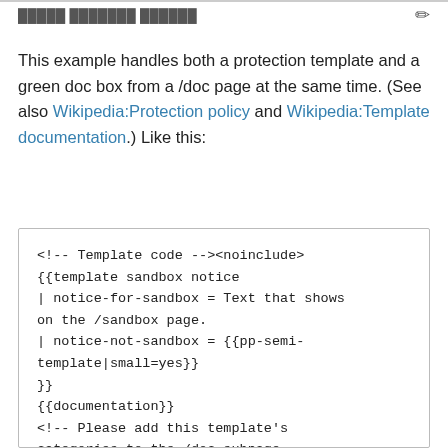█████ ███████ ██████
This example handles both a protection template and a green doc box from a /doc page at the same time. (See also Wikipedia:Protection policy and Wikipedia:Template documentation.) Like this:
<!-- Template code --><noinclude>
{{template sandbox notice
| notice-for-sandbox = Text that shows on the /sandbox page.
| notice-not-sandbox = {{pp-semi-template|small=yes}}
}}
{{documentation}}
<!-- Please add this template's categories to the /doc subpage -